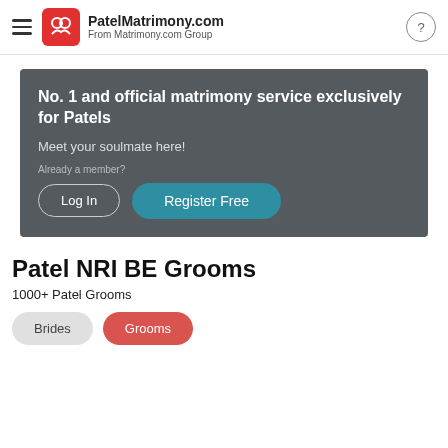PatelMatrimony.com From Matrimony.com Group
[Figure (screenshot): Banner with dark gray background showing matrimony service headline, subtext, login and register buttons]
Patel NRI BE Grooms
1000+ Patel Grooms
Brides  Grooms